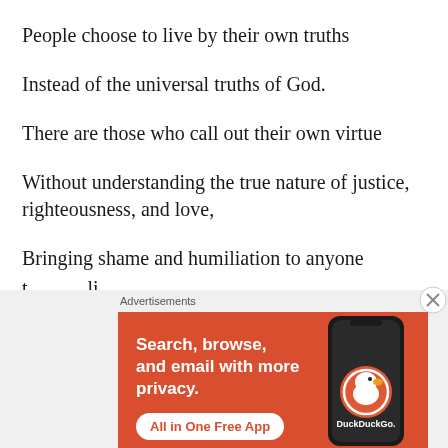People choose to live by their own truths
Instead of the universal truths of God.
There are those who call out their own virtue
Without understanding the true nature of justice, righteousness, and love,
Bringing shame and humiliation to anyone
[Figure (screenshot): DuckDuckGo advertisement banner with orange background. Text reads: 'Search, browse, and email with more privacy. All in One Free App' with DuckDuckGo logo and phone graphic.]